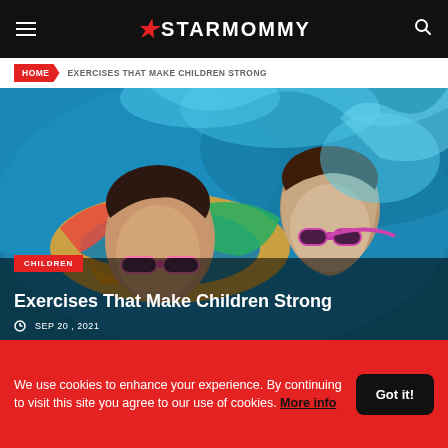STARMOMMY
HOME > EXERCISES THAT MAKE CHILDREN STRONG
[Figure (photo): Two children swimming in a pool with colorful inflatable floats; one child wears pink sunglasses]
CHILDREN
Exercises That Make Children Strong
SEP 20, 2021
We use cookies to enhance your experience. By continuing to visit this site you agree to our use of cookies. More info